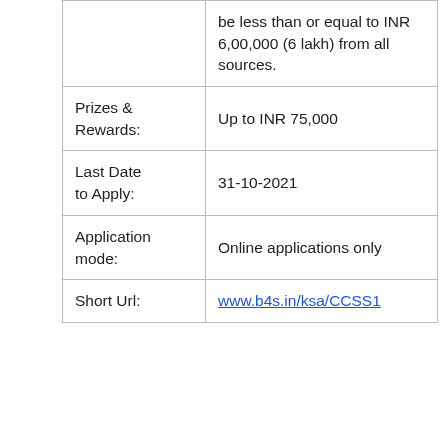|  | be less than or equal to INR 6,00,000 (6 lakh) from all sources. |
| Prizes & Rewards: | Up to INR 75,000 |
| Last Date to Apply: | 31-10-2021 |
| Application mode: | Online applications only |
| Short Url: | www.b4s.in/ksa/CCSS1 |